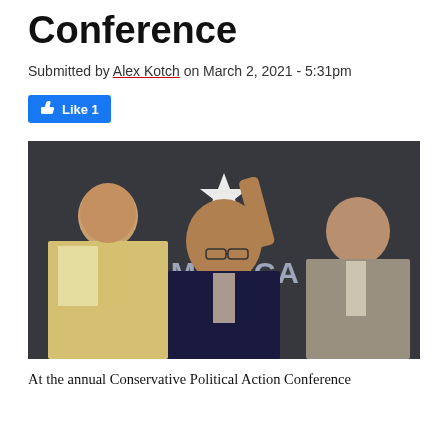Conference
Submitted by Alex Kotch on March 2, 2021 - 5:31pm
[Figure (photo): Three people in front of a CPAC 2021 backdrop showing 'America Unceled' text. A woman on the left with long brown hair in a yellow striped top, a man in the center in a dark suit with glasses pointing upward, and an older man on the right in a gray suit with glasses and a tie.]
At the annual Conservative Political Action Conference